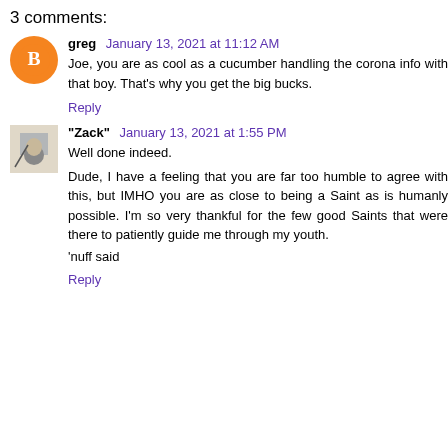3 comments:
greg January 13, 2021 at 11:12 AM
Joe, you are as cool as a cucumber handling the corona info with that boy. That's why you get the big bucks.
Reply
"Zack" January 13, 2021 at 1:55 PM
Well done indeed.
Dude, I have a feeling that you are far too humble to agree with this, but IMHO you are as close to being a Saint as is humanly possible. I'm so very thankful for the few good Saints that were there to patiently guide me through my youth.
'nuff said
Reply